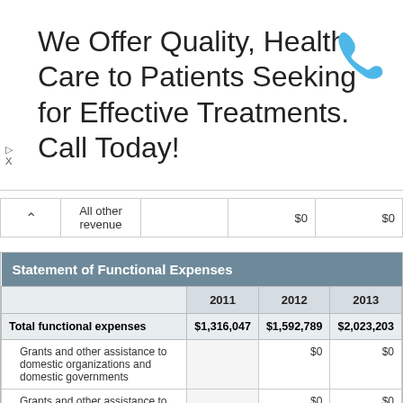[Figure (other): Advertisement banner: 'We Offer Quality, Health Care to Patients Seeking for Effective Treatments. Call Today!' with a blue phone icon on the right and small ad indicator icons on the left.]
|  | All other revenue |  | $0 | $0 |
| --- | --- | --- | --- | --- |
| Statement of Functional Expenses |  |  |  |
| --- | --- | --- | --- |
|  | 2011 | 2012 | 2013 |
| Total functional expenses | $1,316,047 | $1,592,789 | $2,023,203 |
| Grants and other assistance to domestic organizations and domestic governments |  | $0 | $0 |
| Grants and other assistance to domestic individuals |  | $0 | $0 |
| Grants and other assistance to foreign organizations, foreign governments, and foreign individuals |  | $0 | $0 |
| Benefits paid to or for members |  | $0 | $0 |
| Compensation of current officers, | $0 | $0 | $0 |